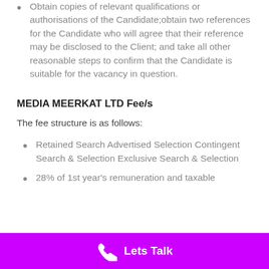Obtain copies of relevant qualifications or authorisations of the Candidate;obtain two references for the Candidate who will agree that their reference may be disclosed to the Client; and take all other reasonable steps to confirm that the Candidate is suitable for the vacancy in question.
MEDIA MEERKAT LTD Fee/s
The fee structure is as follows:
Retained Search Advertised Selection Contingent Search & Selection Exclusive Search & Selection
28% of 1st year's remuneration and taxable
Lets Talk